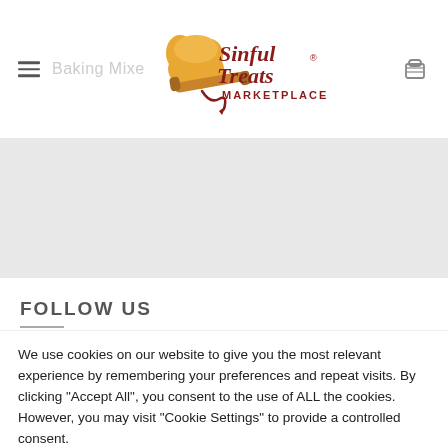Sinful Treats Marketplace
[Figure (logo): Sinful Treats Marketplace logo with chef hat and rolling pin graphic, dark red text]
FOLLOW US
We use cookies on our website to give you the most relevant experience by remembering your preferences and repeat visits. By clicking "Accept All", you consent to the use of ALL the cookies. However, you may visit "Cookie Settings" to provide a controlled consent.
Cookie Settings | Accept All